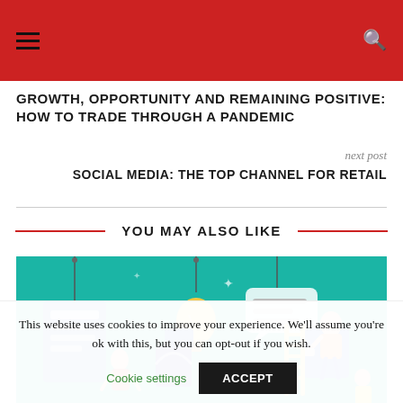GROWTH, OPPORTUNITY AND REMAINING POSITIVE: HOW TO TRADE THROUGH A PANDEMIC
next post
SOCIAL MEDIA: THE TOP CHANNEL FOR RETAIL
YOU MAY ALSO LIKE
[Figure (illustration): Teal/turquoise illustrated graphic showing people working in a digital/tech environment with lightbulb, chat bubbles, ladders, and building blocks]
This website uses cookies to improve your experience. We'll assume you're ok with this, but you can opt-out if you wish.